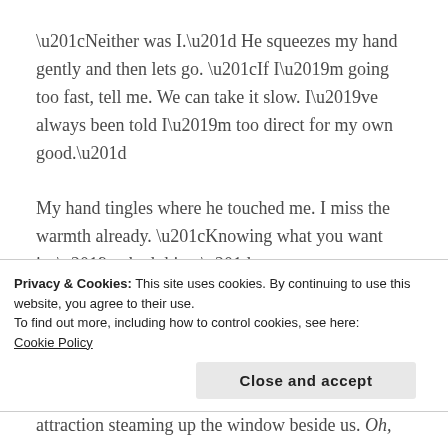“Neither was I.” He squeezes my hand gently and then lets go. “If I’m going too fast, tell me. We can take it slow. I’ve always been told I’m too direct for my own good.”
My hand tingles where he touched me. I miss the warmth already. “Knowing what you want isn’t a bad thing.”
“The question is, what do you want?” His gaze bores into my soul
Privacy & Cookies: This site uses cookies. By continuing to use this website, you agree to their use.
To find out more, including how to control cookies, see here:
Cookie Policy
Close and accept
attraction steaming up the window beside us. Oh, no,